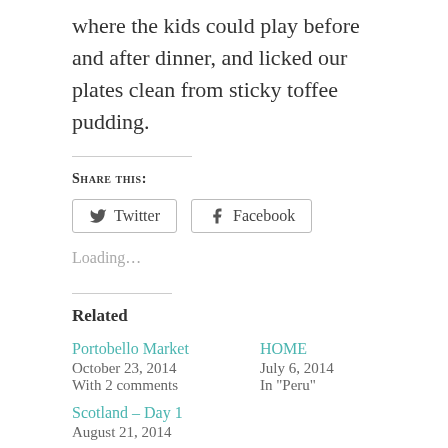where the kids could play before and after dinner, and licked our plates clean from sticky toffee pudding.
Share this:
Twitter  Facebook
Loading…
Related
Portobello Market
October 23, 2014
With 2 comments
HOME
July 6, 2014
In "Peru"
Scotland – Day 1
August 21, 2014